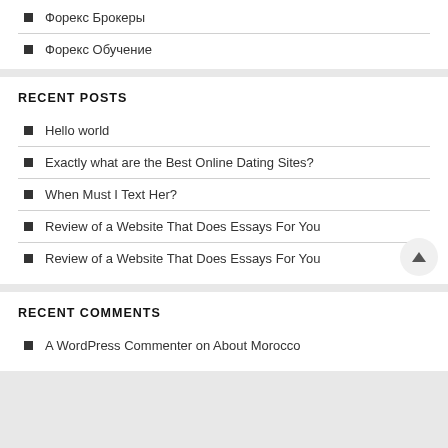Форекс Брокеры
Форекс Обучение
RECENT POSTS
Hello world
Exactly what are the Best Online Dating Sites?
When Must I Text Her?
Review of a Website That Does Essays For You
Review of a Website That Does Essays For You
RECENT COMMENTS
A WordPress Commenter on About Morocco